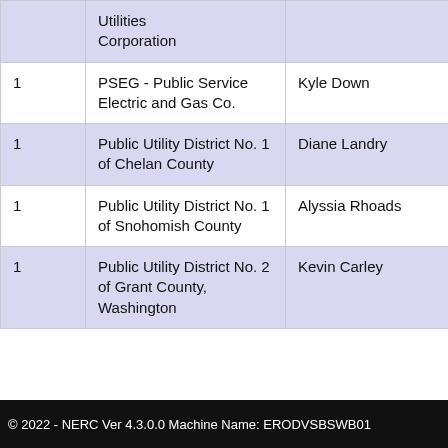|  |  |  |  |
| --- | --- | --- | --- |
|  | Utilities Corporation |  |  |
| 1 | PSEG - Public Service Electric and Gas Co. | Kyle Down |  |
| 1 | Public Utility District No. 1 of Chelan County | Diane Landry |  |
| 1 | Public Utility District No. 1 of Snohomish County | Alyssia Rhoads |  |
| 1 | Public Utility District No. 2 of Grant County, Washington | Kevin Carley |  |
© 2022 - NERC Ver 4.3.0.0 Machine Name: ERODVSBSWB01